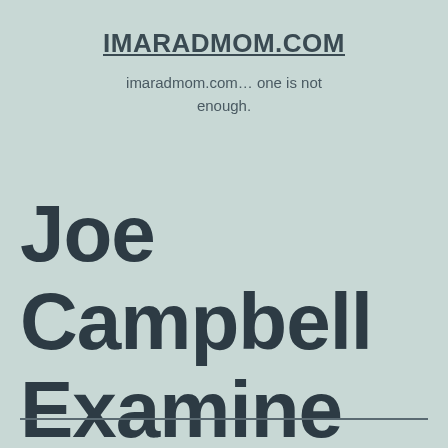IMARADMOM.COM
imaradmom.com… one is not enough.
Joe Campbell Examine